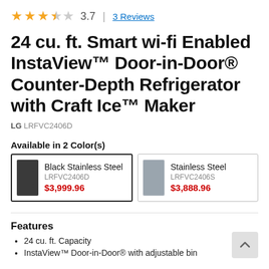3.7 | 3 Reviews
24 cu. ft. Smart wi-fi Enabled InstaView™ Door-in-Door® Counter-Depth Refrigerator with Craft Ice™ Maker
LG LRFVC2406D
Available in 2 Color(s)
| Color | Model | Price |
| --- | --- | --- |
| Black Stainless Steel | LRFVC2406D | $3,999.96 |
| Stainless Steel | LRFVC2406S | $3,888.96 |
Features
24 cu. ft. Capacity
InstaView™ Door-in-Door® with adjustable bin